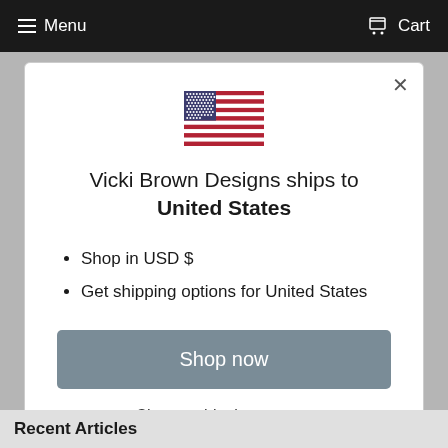Menu   Cart
[Figure (illustration): US flag emoji/icon centered in the modal]
Vicki Brown Designs ships to United States
Shop in USD $
Get shipping options for United States
Shop now
Change shipping country
Recent Articles